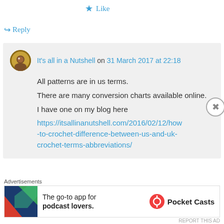★ Like
↪ Reply
It's all in a Nutshell on 31 March 2017 at 22:18
All patterns are in us terms. There are many conversion charts available online. I have one on my blog here https://itsallinanutshell.com/2016/02/12/how-to-crochet-difference-between-us-and-uk-crochet-terms-abbreviations/
Advertisements
[Figure (infographic): Pocket Casts advertisement: The go-to app for podcast lovers.]